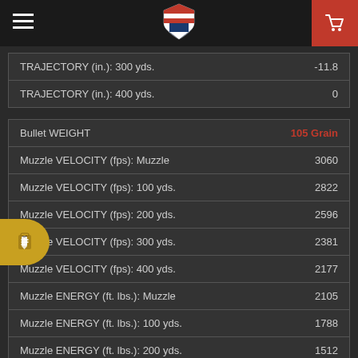Navigation bar with hamburger menu, shield logo, and cart icon
| Label | Value |
| --- | --- |
| TRAJECTORY (in.): 300 yds. | -11.8 |
| TRAJECTORY (in.): 400 yds. | 0 |
| Label | Value |
| --- | --- |
| Bullet WEIGHT | 105 Grain |
| Muzzle VELOCITY (fps): Muzzle | 3060 |
| Muzzle VELOCITY (fps): 100 yds. | 2822 |
| Muzzle VELOCITY (fps): 200 yds. | 2596 |
| Muzzle VELOCITY (fps): 300 yds. | 2381 |
| Muzzle VELOCITY (fps): 400 yds. | 2177 |
| Muzzle ENERGY (ft. lbs.): Muzzle | 2105 |
| Muzzle ENERGY (ft. lbs.): 100 yds. | 1788 |
| Muzzle ENERGY (ft. lbs.): 200 yds. | 1512 |
| Muzzle ENERGY (ft. lbs.): 300 yds. | 1270 |
| Muzzle ENERGY (ft. lbs.): 400 yds. | 1059 |